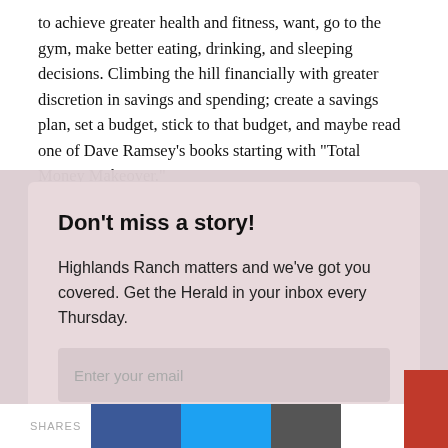make better eating, drinking, and sleeping decisions. Climbing the hill financially with greater discretion in savings and spending; create a savings plan, set a budget, stick to that budget, and maybe read one of Dave Ramsey's books starting with "Total Money Makeover."
Don't miss a story!
Highlands Ranch matters and we've got you covered. Get the Herald in your inbox every Thursday.